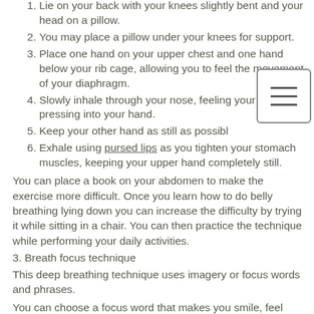Lie on your back with your knees slightly bent and your head on a pillow.
You may place a pillow under your knees for support.
Place one hand on your upper chest and one hand below your rib cage, allowing you to feel the movement of your diaphragm.
Slowly inhale through your nose, feeling your stomach pressing into your hand.
Keep your other hand as still as possible.
Exhale using pursed lips as you tighten your stomach muscles, keeping your upper hand completely still.
You can place a book on your abdomen to make the exercise more difficult. Once you learn how to do belly breathing lying down you can increase the difficulty by trying it while sitting in a chair. You can then practice the technique while performing your daily activities.
3. Breath focus technique
This deep breathing technique uses imagery or focus words and phrases.
You can choose a focus word that makes you smile, feel relaxed, or that is simply neutral to think about. Examples include peace, let go, or relax, but it can be any word that suits you to focus on and repeat through your practice.
As you build up your breath focus practice you can start with a 10-minute session. Gradually increase the duration until your sessions are at least 20 minutes.
To do it:
Sit or lie down in a comfortable place.